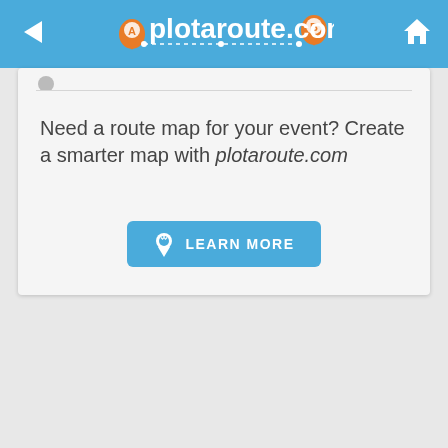plotaroute.com
Need a route map for your event? Create a smarter map with plotaroute.com
[Figure (other): LEARN MORE button with location pin icon]